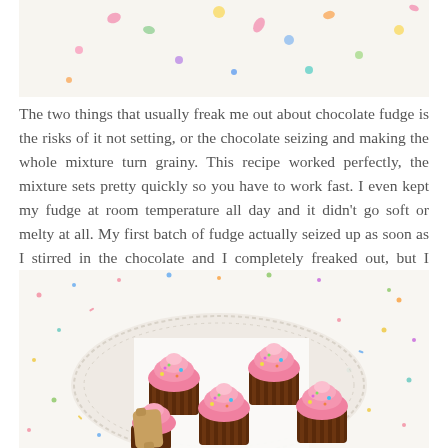[Figure (photo): Top portion of a photo showing colorful candy sprinkles/confetti scattered on a white background]
The two things that usually freak me out about chocolate fudge is the risks of it not setting, or the chocolate seizing and making the whole mixture turn grainy. This recipe worked perfectly, the mixture sets pretty quickly so you have to work fast. I even kept my fudge at room temperature all day and it didn't go soft or melty at all. My first batch of fudge actually seized up as soon as I stirred in the chocolate and I completely freaked out, but I returned it to the heat and gradually added hot water to the mixture and it totally fixed it. It was like magic!
[Figure (photo): Overhead view of chocolate cupcakes with pink frosting and rainbow sprinkles arranged on a round white lace plate, with colorful sprinkles scattered on white surface around it, and a wooden rolling pin visible at bottom left]